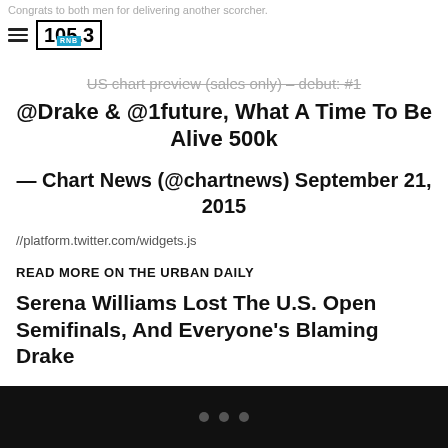Congrats to both men for delivering another scorcher.
[Figure (logo): 105.3 RnB radio station logo in a black bordered box]
US chart preview (sales only) – debut: #1 @Drake & @1future, What A Time To Be Alive 500k
— Chart News (@chartnews) September 21, 2015
//platform.twitter.com/widgets.js
READ MORE ON THE URBAN DAILY
Serena Williams Lost The U.S. Open Semifinals, And Everyone's Blaming Drake